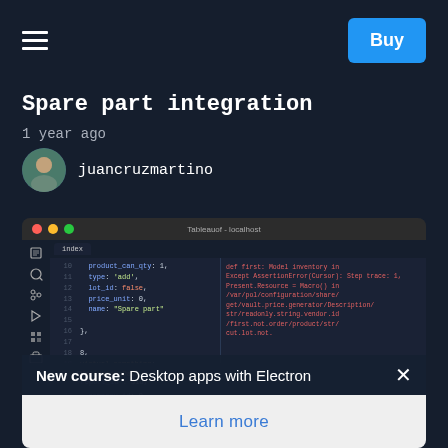Buy
Spare part integration
1 year ago
juancruzmartino
[Figure (screenshot): Code editor screenshot showing JSON/Python code in a dark editor (VS Code or similar) with two panels: left showing code with line numbers, right showing red error text output. macOS window chrome visible at top.]
New course: Desktop apps with Electron
Learn more